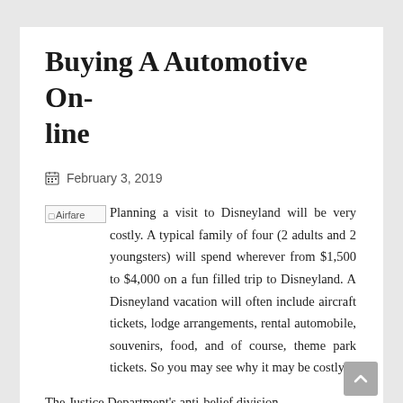Buying A Automotive Online
February 3, 2019
[Figure (photo): Broken image placeholder labeled 'Airfare']
Planning a visit to Disneyland will be very costly. A typical family of four (2 adults and 2 youngsters) will spend wherever from $1,500 to $4,000 on a fun filled trip to Disneyland. A Disneyland vacation will often include aircraft tickets, lodge arrangements, rental automobile, souvenirs, food, and of course, theme park tickets. So you may see why it may be costly.
The Justice Department's anti-belief division,